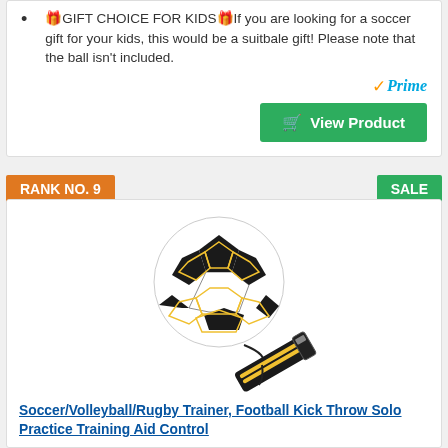🎁GIFT CHOICE FOR KIDS🎁If you are looking for a soccer gift for your kids, this would be a suitbale gift! Please note that the ball isn't included.
[Figure (other): Amazon Prime logo with gold checkmark and blue italic Prime text]
[Figure (other): Green View Product button with shopping cart icon]
RANK NO. 9
SALE
[Figure (photo): Soccer ball with black and yellow hexagonal pattern connected by cord to a black training belt aid — Soccer/Volleyball/Rugby Trainer product image]
Soccer/Volleyball/Rugby Trainer, Football Kick Throw Solo Practice Training Aid Control